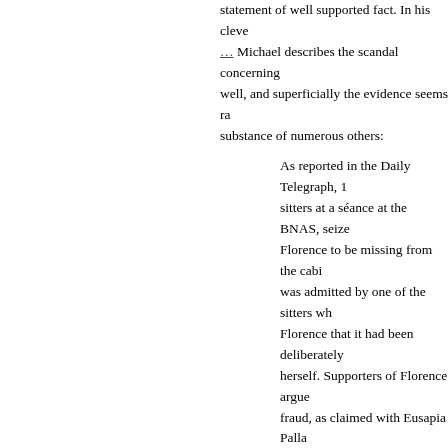statement of well supported fact. In his cleve… Michael describes the scandal concerning well, and superficially the evidence seems ra substance of numerous others:
As reported in the Daily Telegraph, 1 sitters at a séance at the BNAS, seize Florence to be missing from the cabi was admitted by one of the sitters wh Florence that it had been deliberately herself. Supporters of Florence argue fraud, as claimed with Eusapia Palla trance-state; there was also of course action. The Mediumship of Florence
One of the problems I have with the above st suffers from having half a who. The first hal half is an anonymous sitter who claimed to h This is the truly damning part of the indictm possibly fabricated conspirator. And, as for t argued it was a case of unconscious fraud, w And, why should we except their suppositio
Every other account I've read of this Sitwell authority of a third person describing events